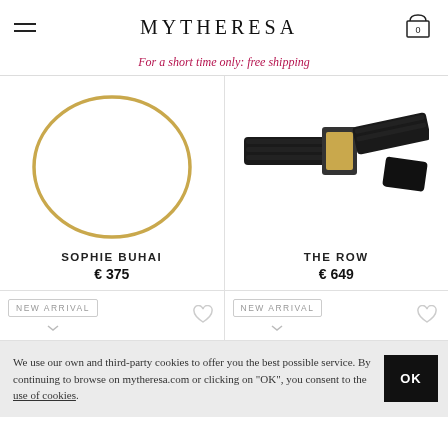MYTHERESA
For a short time only: free shipping
[Figure (photo): Gold thin oval chain necklace on white background — Sophie Buhai]
SOPHIE BUHAI
€ 375
[Figure (photo): Black woven leather belt with gold buckle — The Row]
THE ROW
€ 649
NEW ARRIVAL
NEW ARRIVAL
We use our own and third-party cookies to offer you the best possible service. By continuing to browse on mytheresa.com or clicking on "OK", you consent to the use of cookies.